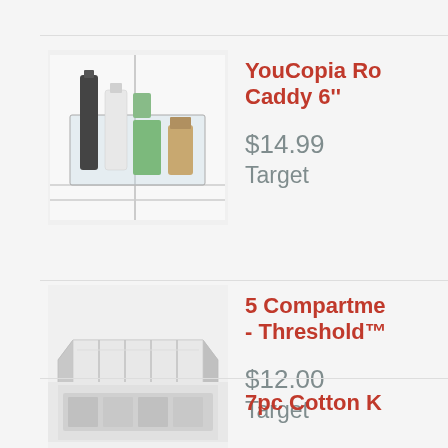[Figure (photo): YouCopia RolOut Fridge Caddy 6 inch - product photo showing clear tray with items in a refrigerator]
YouCopia Ro... Caddy 6"
$14.99
Target
[Figure (photo): 5 Compartment drawer organizer - Threshold brand, white plastic tray with dividers]
5 Compartme... - Threshold™
$12.00
Target
[Figure (photo): 7pc Cotton K... - partial product image at bottom of page]
7pc Cotton K...